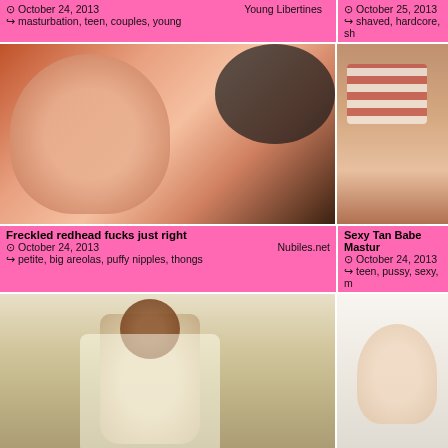October 24, 2013 | Young Libertines | masturbation, teen, couples, young
October 25, 2013 | shaved, hardcore, sh...
[Figure (photo): Close-up photo of redhead woman with open mouth]
[Figure (photo): Partial photo of woman on striped fabric]
Freckled redhead fucks just right
October 24, 2013 | Nubiles.net | petite, big areolas, puffy nipples, thongs
Sexy Tan Babe Mastur...
October 24, 2013 | teen, pussy, sexy, m...
[Figure (photo): Dark-haired woman in white off-shoulder top seated on chair]
[Figure (photo): Partial photo of blonde on light background]